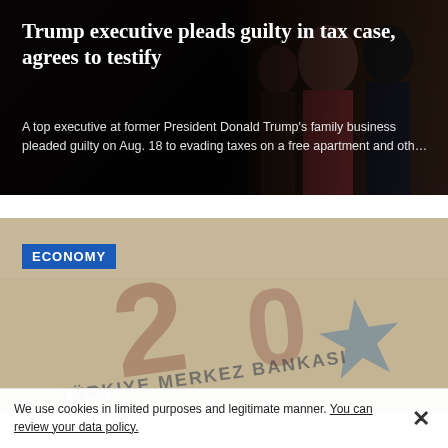[Figure (photo): Dark-toned news card image showing people in background with overlay gradient, used as background for headline article about Trump executive tax case]
Trump executive pleads guilty in tax case, agrees to testify
A top executive at former President Donald Trump's family business pleaded guilty on Aug. 18 to evading taxes on a free apartment and oth…
[Figure (photo): Close-up blurred photo of Turkish lira banknotes showing text 'Türkiye Merkez Bankasi' (Central Bank of Turkey) with ECONOMY badge overlay]
ECONOMY
We use cookies in limited purposes and legitimate manner. You can review your data policy.